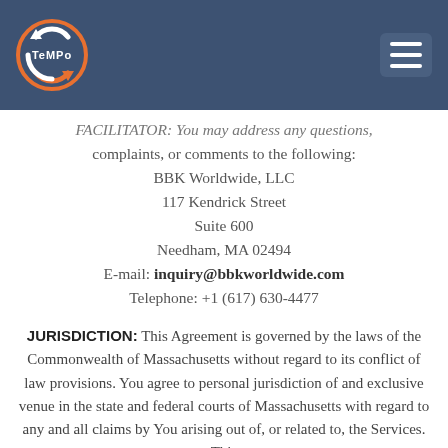[Figure (logo): TeMPo circular logo with orange and white arrow shapes on a dark blue background header]
FACILITATOR: You may address any questions, complaints, or comments to the following:
BBK Worldwide, LLC
117 Kendrick Street
Suite 600
Needham, MA 02494
E-mail: inquiry@bbkworldwide.com
Telephone: +1 (617) 630-4477
JURISDICTION: This Agreement is governed by the laws of the Commonwealth of Massachusetts without regard to its conflict of law provisions. You agree to personal jurisdiction of and exclusive venue in the state and federal courts of Massachusetts with regard to any and all claims by You arising out of, or related to, the Services. This